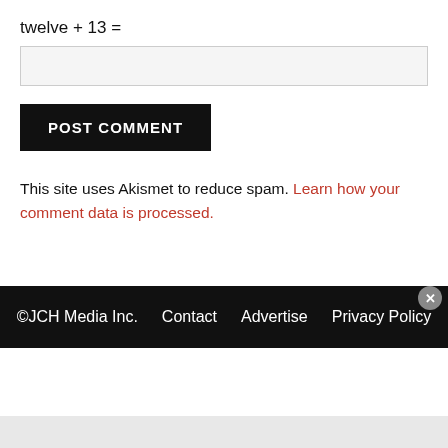twelve + 13 =
POST COMMENT
This site uses Akismet to reduce spam. Learn how your comment data is processed.
©JCH Media Inc.   Contact   Advertise   Privacy Policy